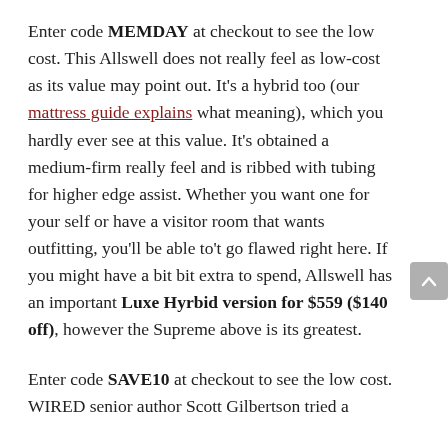Enter code MEMDAY at checkout to see the low cost. This Allswell does not really feel as low-cost as its value may point out. It's a hybrid too (our mattress guide explains what meaning), which you hardly ever see at this value. It's obtained a medium-firm really feel and is ribbed with tubing for higher edge assist. Whether you want one for your self or have a visitor room that wants outfitting, you'll be able to't go flawed right here. If you might have a bit bit extra to spend, Allswell has an important Luxe Hyrbid version for $559 ($140 off), however the Supreme above is its greatest.
Enter code SAVE10 at checkout to see the low cost. WIRED senior author Scott Gilbertson tried a